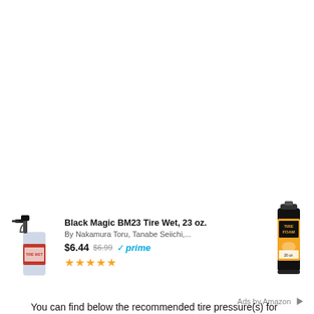[Figure (screenshot): Amazon advertisement banner showing Black Magic BM23 Tire Wet 23 oz. product with spray bottle image, price $6.44 (was $6.99), Prime eligible, 5-star rating, and a second product (Tire Foam can) on the right side. Includes 'Ads by Amazon' attribution.]
You can find below the recommended tire pressure(s) for Bentley Azure by model year or its original equipment tire size. To enjoy enjoy a safe and comfortable drive, keep your Bentley Azure tires